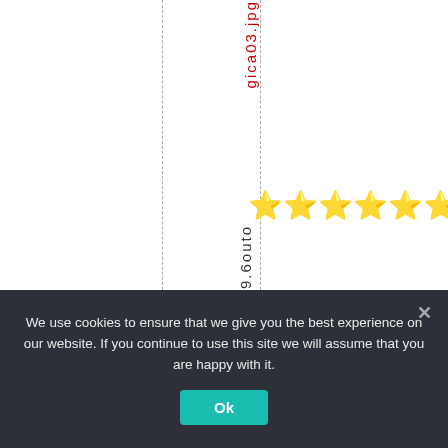[Figure (screenshot): Partial screenshot of a webpage showing vertically-oriented red text spelling 'gica03.jpg', a row of 10 gold star emoji, and vertically-oriented dark text '9.6outo' with dashed column lines]
We use cookies to ensure that we give you the best experience on our website. If you continue to use this site we will assume that you are happy with it.
Ok